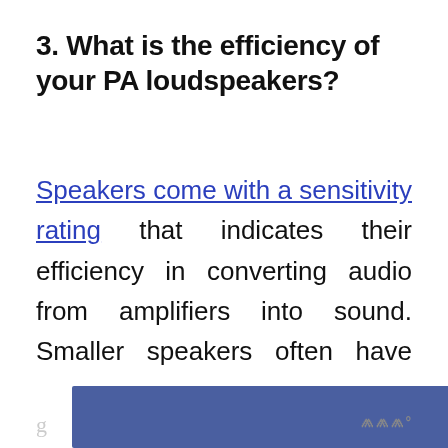3. What is the efficiency of your PA loudspeakers?
Speakers come with a sensitivity rating that indicates their efficiency in converting audio from amplifiers into sound. Smaller speakers often have lower efficiency than larger ones. Smaller speakers can do for small venues, but you'll require larger and more powerful speakers for larger g